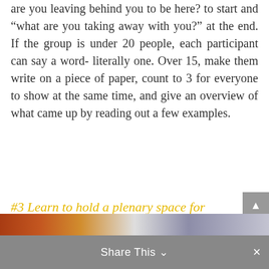are you leaving behind you to be here? to start and “what are you taking away with you?” at the end. If the group is under 20 people, each participant can say a word- literally one. Over 15, make them write on a piece of paper, count to 3 for everyone to show at the same time, and give an overview of what came up by reading out a few examples.
#3 Learn to hold a plenary space for people to share and inspire each other
Share This ∨ ×